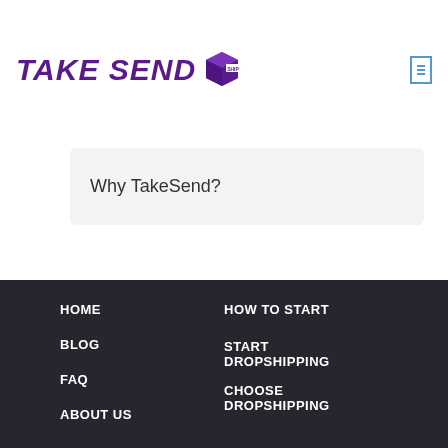[Figure (logo): TakeSend Ship logo with purple italic bold text and a purple shipping box icon with 'SHIP' text]
Why TakeSend?
HOME
BLOG
FAQ
ABOUT US
HOW TO START
START DROPSHIPPING
CHOOSE DROPSHIPPING